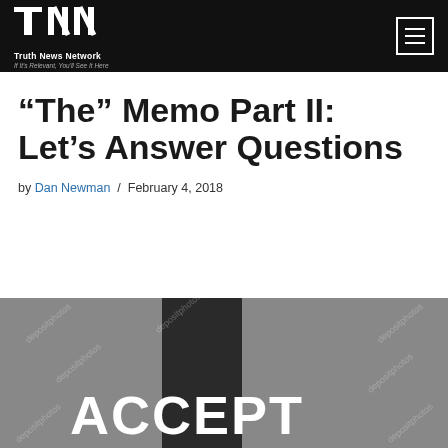Truth News Network — If It's Relevant, You'll See It Here
“The” Memo Part II: Let’s Answer Questions
by Dan Newman / February 4, 2018
[Figure (photo): Grayscale image with a dark vertical strip and large white text reading ACCEPT, watermarked with depositphotos]